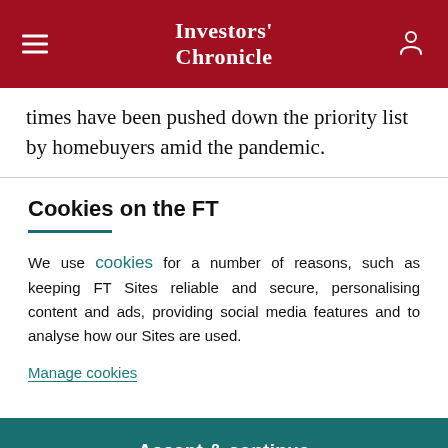Investors' Chronicle
times have been pushed down the priority list by homebuyers amid the pandemic.
Cookies on the FT
We use cookies for a number of reasons, such as keeping FT Sites reliable and secure, personalising content and ads, providing social media features and to analyse how our Sites are used.
Manage cookies
Accept & continue